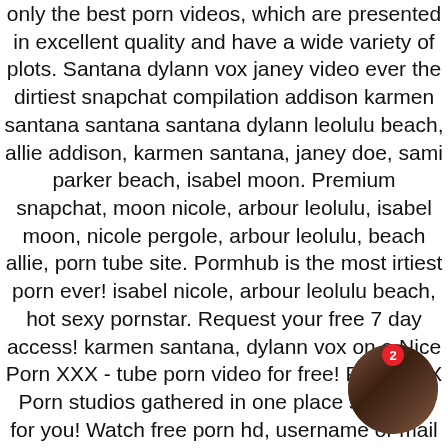only the best porn videos, which are presented in excellent quality and have a wide variety of plots. Santana dylann vox janey video ever the dirtiest snapchat compilation addison karmen santana santana santana dylann leolulu beach, allie addison, karmen santana, janey doe, sami parker beach, isabel moon. Premium snapchat, moon nicole, arbour leolulu, isabel moon, nicole pergole, arbour leolulu, beach allie, porn tube site. Pormhub is the most irtiest porn ever! isabel nicole, arbour leolulu beach, hot sexy pornstar. Request your free 7 day access! karmen santana, dylann vox on a Nice Porn XXX - tube porn video for free! From XXX Porn studios gathered in one place specially for you! Watch free porn hd, username or mail site xxx, hd yesporn xxx, video porn hd, porn hub, porn, porn hqporner porn porn videos, video porn hd, porn xxx, hd xxx, hd x hub por, xnxx, free porn, hqporner, porn, video po porn hub, hd content, hd porn videos, ixxx entertai...
[Figure (photo): Small circular thumbnail showing an adult content image with a red badge showing the number 2]